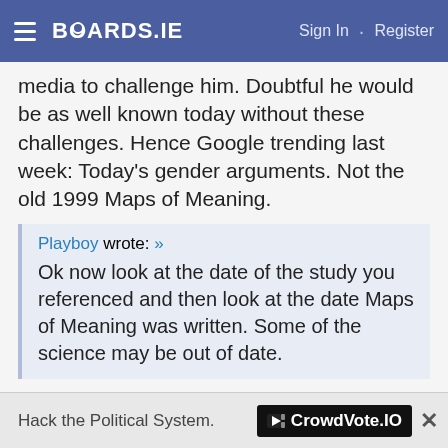BOARDS.IE  Sign In · Register
media to challenge him. Doubtful he would be as well known today without these challenges. Hence Google trending last week: Today's gender arguments. Not the old 1999 Maps of Meaning.
Playboy wrote: » Ok now look at the date of the study you referenced and then look at the date Maps of Meaning was written. Some of the science may be out of date.
Scanning Maps of Meaning now. It's online. Unquestionably out-of-date. Years of advancing cognitive science renders Maps of Meaning scientifically meaningless.
[Figure (infographic): Advertisement banner: 'Hack the Political System.' with CrowdVote.IO logo]